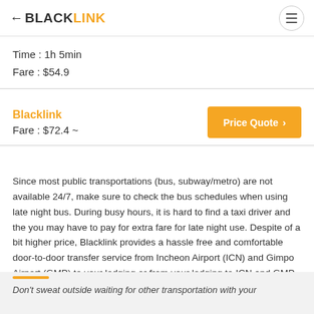BLACK LINK
Time : 1h 5min
Fare : $54.9
Blacklink
Fare : $72.4 ~
Price Quote >
Since most public transportations (bus, subway/metro) are not available 24/7, make sure to check the bus schedules when using late night bus. During busy hours, it is hard to find a taxi driver and the you may have to pay for extra fare for late night use. Despite of a bit higher price, Blacklink provides a hassle free and comfortable door-to-door transfer service from Incheon Airport (ICN) and Gimpo Airport (GMP) to your lodging or from your lodging to ICN and GMP.
Don't sweat outside waiting for other transportation with your